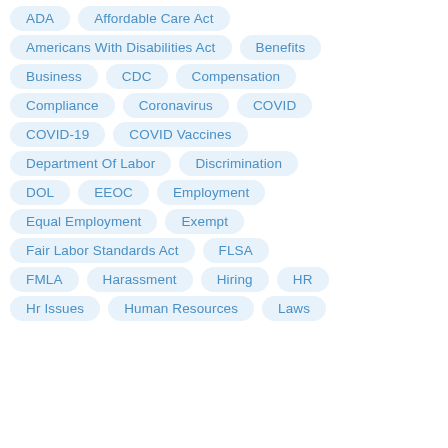ADA
Affordable Care Act
Americans With Disabilities Act
Benefits
Business
CDC
Compensation
Compliance
Coronavirus
COVID
COVID-19
COVID Vaccines
Department Of Labor
Discrimination
DOL
EEOC
Employment
Equal Employment
Exempt
Fair Labor Standards Act
FLSA
FMLA
Harassment
Hiring
HR
Hr Issues
Human Resources
Laws